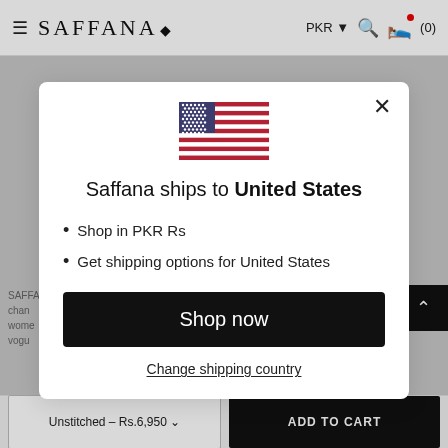≡ SAFFANA◆   PKR ▾ 🔍 🛍 (0)
[Figure (screenshot): US flag SVG inline — red and white stripes with blue canton and white stars]
Saffana ships to United States
Shop in PKR Rs
Get shipping options for United States
Shop now
Change shipping country